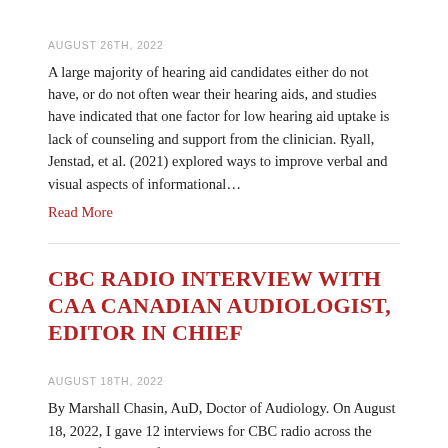AUGUST 26TH, 2022
A large majority of hearing aid candidates either do not have, or do not often wear their hearing aids, and studies have indicated that one factor for low hearing aid uptake is lack of counseling and support from the clinician. Ryall, Jenstad, et al. (2021) explored ways to improve verbal and visual aspects of informational…
Read More
CBC RADIO INTERVIEW WITH CAA CANADIAN AUDIOLOGIST, EDITOR IN CHIEF
AUGUST 18TH, 2022
By Marshall Chasin, AuD, Doctor of Audiology. On August 18, 2022, I gave 12 interviews for CBC radio across the country from Newfoundland to Vancouver and even Yellowknife (where it is still quite warm and